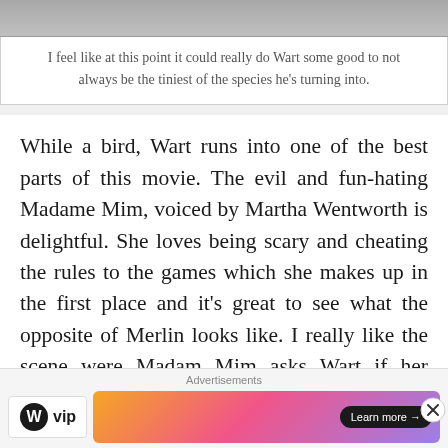[Figure (photo): Top portion of an image, partially cropped, showing a gray/blurred scene.]
I feel like at this point it could really do Wart some good to not always be the tiniest of the species he’s turning into.
While a bird, Wart runs into one of the best parts of this movie. The evil and fun-hating Madame Mim, voiced by Martha Wentworth is delightful. She loves being scary and cheating the rules to the games which she makes up in the first place and it’s great to see what the opposite of Merlin looks like. I really like the scene were Madam Mim asks Wart if her magic is in fact more powerful than Merlin’s and Wart makes the
Advertisements
[Figure (logo): WordPress VIP logo with circle W icon and 'vip' text]
[Figure (infographic): Advertisement banner with gradient background (orange to pink to purple) and a 'Learn more →' button]